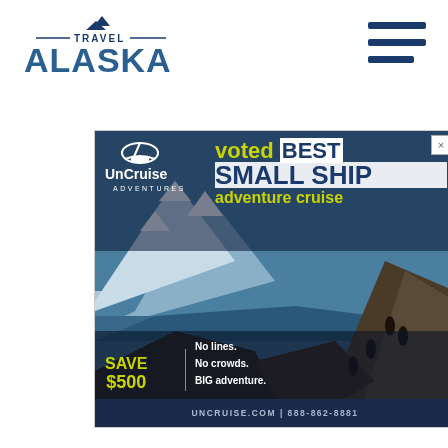[Figure (logo): Travel Alaska logo with mountain peaks icon and stylized ALASKA text in blue]
[Figure (infographic): Hamburger menu icon (3 horizontal dark blue bars)]
[Figure (infographic): UnCruise Adventures advertisement: voted BEST SMALL SHIP adventure cruise, SAVE $500, No lines. No crowds. BIG adventure. UNCRUISE.COM | 888-862-8881, with Alaskan fjord landscape background and hikers.]